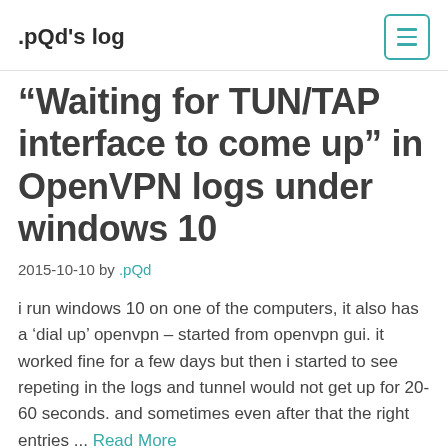.pQd's log
“Waiting for TUN/TAP interface to come up” in OpenVPN logs under windows 10
2015-10-10 by .pQd
i run windows 10 on one of the computers, it also has a ‘dial up’ openvpn – started from openvpn gui. it worked fine for a few days but then i started to see repeting in the logs and tunnel would not get up for 20-60 seconds. and sometimes even after that the right entries ... Read More